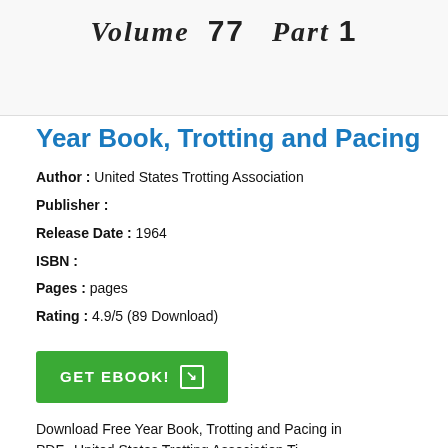Volume 77 Part 1
Year Book, Trotting and Pacing
Author : United States Trotting Association
Publisher :
Release Date : 1964
ISBN :
Pages : pages
Rating : 4.9/5 (89 Download)
GET EBOOK!
Download Free Year Book, Trotting and Pacing in PDF...United States Trotting Association Ti...